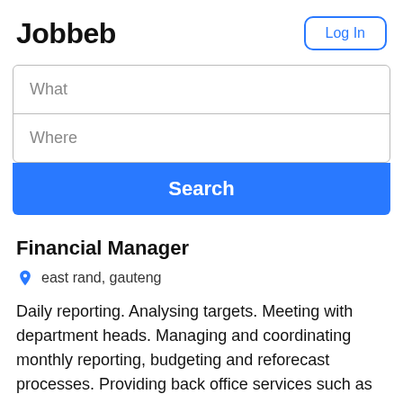Jobbeb
Log In
What
Where
Search
Financial Manager
east rand, gauteng
Daily reporting. Analysing targets. Meeting with department heads. Managing and coordinating monthly reporting, budgeting and reforecast processes. Providing back office services such as